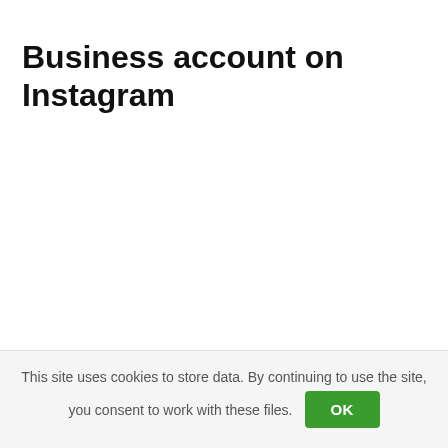Business account on Instagram
This site uses cookies to store data. By continuing to use the site, you consent to work with these files.
OK